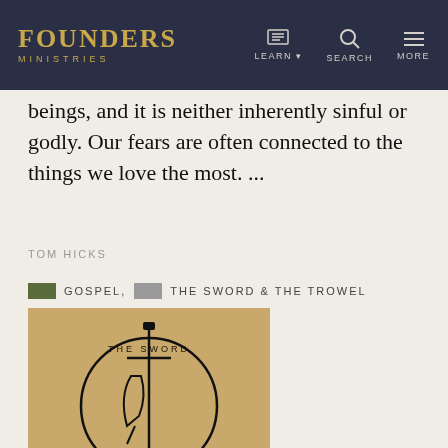FOUNDERS MINISTRIES | LEARN | SEARCH | MORE
beings, and it is neither inherently sinful or godly. Our fears are often connected to the things we love the most. ...
TOM HICKS
GOSPEL, THE SWORD & THE TROWEL
[Figure (logo): The Sword and The Trowel circular logo with sword and trowel imagery on tan/kraft background]
TS&TT: Ben Dunson | Political Theology, Theonomy & Christian Nationalism
BEN C. DUNSON, GRAHAM GUNDEN, TOM ASCOL
THEOLOGY